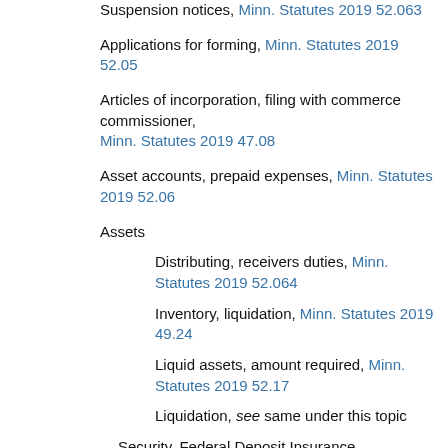Suspension notices, Minn. Statutes 2019 52.063
Applications for forming, Minn. Statutes 2019 52.05
Articles of incorporation, filing with commerce commissioner, Minn. Statutes 2019 47.08
Asset accounts, prepaid expenses, Minn. Statutes 2019 52.06
Assets
Distributing, receivers duties, Minn. Statutes 2019 52.064
Inventory, liquidation, Minn. Statutes 2019 49.24
Liquid assets, amount required, Minn. Statutes 2019 52.17
Liquidation, see same under this topic
Security, Federal Deposit Insurance Corporation loans, Minn. Statutes 2019 49.05
Assignments, insolvency, Minn. Statutes 2019 49.013
Attachments, possession by Commerce Department, Minn.